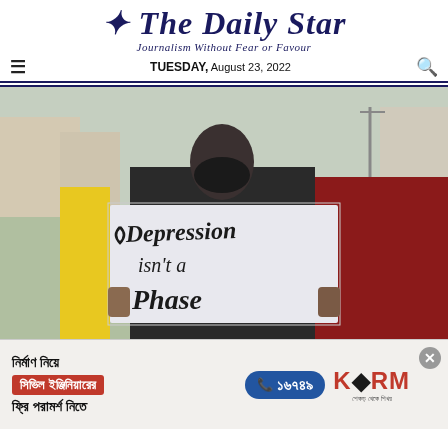The Daily Star
Journalism Without Fear or Favour
TUESDAY, August 23, 2022
[Figure (photo): A person wearing a black mask and jacket holds a white sign that reads 'Depression isn't a Phase' in handwritten lettering. Another person in a red hoodie stands to the right. Protest scene outdoors.]
[Figure (infographic): Advertisement banner: Bengali text about civil engineering consultation. Red button with Bengali text, blue circle with phone number 16749, KSRM brand logo with Bengali tagline. Close button (x) in top right.]